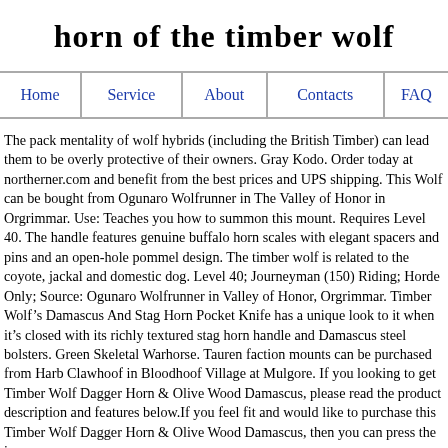horn of the timber wolf
| Home | Service | About | Contacts | FAQ |
| --- | --- | --- | --- | --- |
The pack mentality of wolf hybrids (including the British Timber) can lead them to be overly protective of their owners. Gray Kodo. Order today at northerner.com and benefit from the best prices and UPS shipping. This Wolf can be bought from Ogunaro Wolfrunner in The Valley of Honor in Orgrimmar. Use: Teaches you how to summon this mount. Requires Level 40. The handle features genuine buffalo horn scales with elegant spacers and pins and an open-hole pommel design. The timber wolf is related to the coyote, jackal and domestic dog. Level 40; Journeyman (150) Riding; Horde Only; Source: Ogunaro Wolfrunner in Valley of Honor, Orgrimmar. Timber Wolf’s Damascus And Stag Horn Pocket Knife has a unique look to it when it’s closed with its richly textured stag horn handle and Damascus steel bolsters. Green Skeletal Warhorse. Tauren faction mounts can be purchased from Harb Clawhoof in Bloodhoof Village at Mulgore. If you looking to get Timber Wolf Dagger Horn & Olive Wood Damascus, please read the product description and features below.If you feel fit and would like to purchase this Timber Wolf Dagger Horn & Olive Wood Damascus, then you can press the image the More Information button below to read all customer reviews. You